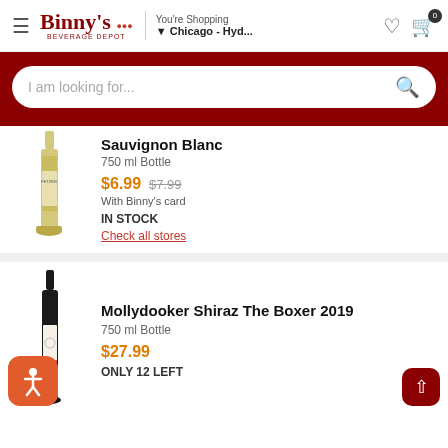Binny's Beverage Depot — You're Shopping Chicago - Hyd...
I am looking for...
Sauvignon Blanc
750 ml Bottle
$6.99  $7.99
With Binny's card
IN STOCK
Check all stores
Mollydooker Shiraz The Boxer 2019
750 ml Bottle
$27.99
ONLY 12 LEFT